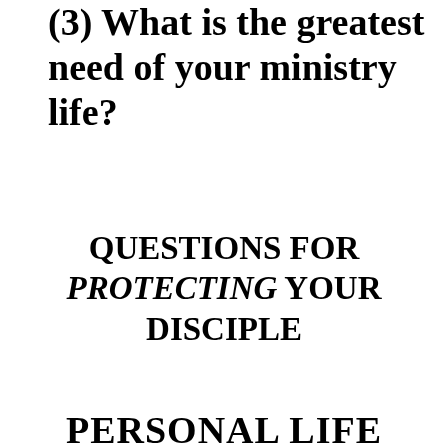(3) What is the greatest need of your ministry life?
QUESTIONS FOR PROTECTING YOUR DISCIPLE
PERSONAL LIFE